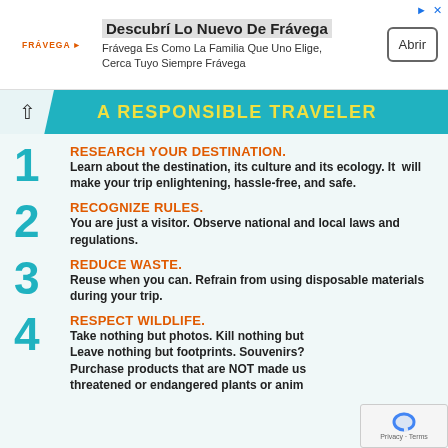[Figure (other): Advertisement banner for Frávega with logo, headline 'Descubrí Lo Nuevo De Frávega', subtext 'Frávega Es Como La Familia Que Uno Elige, Cerca Tuyo Siempre Frávega', and 'Abrir' button]
A RESPONSIBLE TRAVELER
1. RESEARCH YOUR DESTINATION. Learn about the destination, its culture and its ecology. It will make your trip enlightening, hassle-free, and safe.
2. RECOGNIZE RULES. You are just a visitor. Observe national and local laws and regulations.
3. REDUCE WASTE. Reuse when you can. Refrain from using disposable materials during your trip.
4. RESPECT WILDLIFE. Take nothing but photos. Kill nothing but time. Leave nothing but footprints. Souvenirs? Purchase products that are NOT made using threatened or endangered plants or animals.